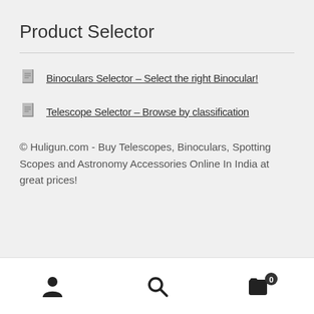Product Selector
Binoculars Selector – Select the right Binocular!
Telescope Selector – Browse by classification
© Huligun.com - Buy Telescopes, Binoculars, Spotting Scopes and Astronomy Accessories Online In India at great prices!